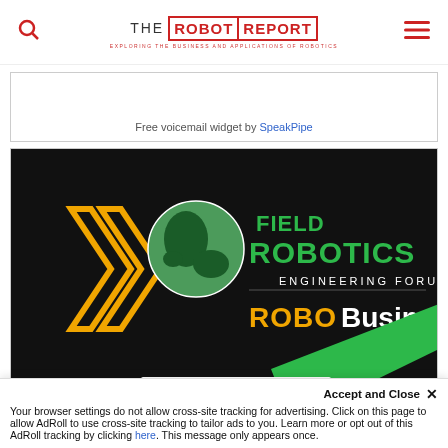THE ROBOT REPORT — EXPLORING THE BUSINESS AND APPLICATIONS OF ROBOTICS
Free voicemail widget by SpeakPipe
[Figure (illustration): Field Robotics Engineering Forum at RoboBusiness advertisement banner with globe graphic, chevron arrows in orange, green diagonal stripe, and 'REGISTER NOW' button on dark background]
Accept and Close ✕ Your browser settings do not allow cross-site tracking for advertising. Click on this page to allow AdRoll to use cross-site tracking to tailor ads to you. Learn more or opt out of this AdRoll tracking by clicking here. This message only appears once.